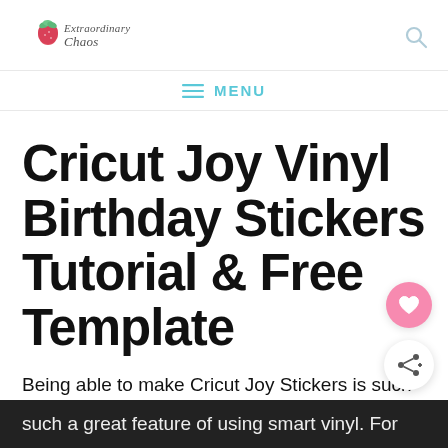ExtraordinaryChaos [logo] — search icon
MENU
Cricut Joy Vinyl Birthday Stickers Tutorial & Free Template
Being able to make Cricut Joy Stickers is such a great feature of using smart vinyl. For